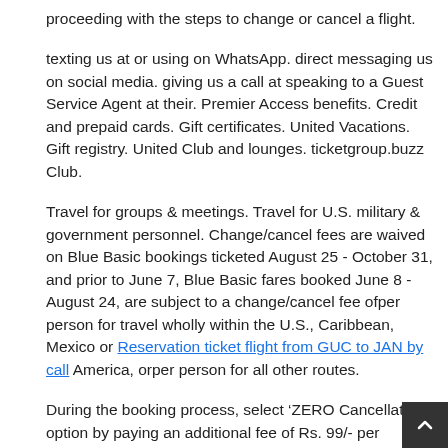proceeding with the steps to change or cancel a flight.
texting us at or using on WhatsApp. direct messaging us on social media. giving us a call at speaking to a Guest Service Agent at their. Premier Access benefits. Credit and prepaid cards. Gift certificates. United Vacations. Gift registry. United Club and lounges. ticketgroup.buzz Club.
Travel for groups & meetings. Travel for U.S. military & government personnel. Change/cancel fees are waived on Blue Basic bookings ticketed August 25 - October 31, and prior to June 7, Blue Basic fares booked June 8 - August 24, are subject to a change/cancel fee ofper person for travel wholly within the U.S., Caribbean, Mexico or Reservation ticket flight from GUC to JAN by call America, orper person for all other routes.
During the booking process, select ‘ZERO Cancellation’ option by paying an additional fee of Rs. 99/- per passenger & enjoy ZERO penalty in case you wish to cancel the booking. To process your cancellation at ZERO penalty, logon to ticketgroup.buzz and process the cancellation. Waiver for your cancelation will be applied automatically. The refund amount takes into account